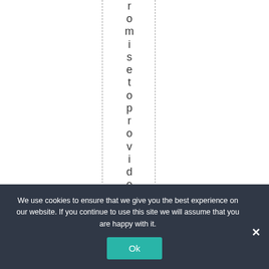romise to provide us w
We use cookies to ensure that we give you the best experience on our website. If you continue to use this site we will assume that you are happy with it.